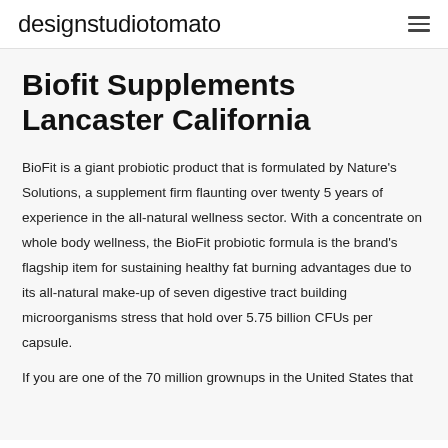designstudiotomato
Biofit Supplements Lancaster California
BioFit is a giant probiotic product that is formulated by Nature's Solutions, a supplement firm flaunting over twenty 5 years of experience in the all-natural wellness sector. With a concentrate on whole body wellness, the BioFit probiotic formula is the brand's flagship item for sustaining healthy fat burning advantages due to its all-natural make-up of seven digestive tract building microorganisms stress that hold over 5.75 billion CFUs per capsule.
If you are one of the 70 million grownups in the United States that